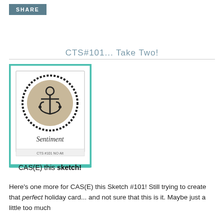SHARE
CTS#101... Take Two!
[Figure (illustration): CAS(E) this sketch card layout diagram showing a card with a circular rope-bordered anchor stamp in the center and 'Sentiment' text below, labeled CTS #101. The card has a teal/mint decorative border. Bottom reads 'CAS(E) this sketch!']
Here's one more for CAS(E) this Sketch #101! Still trying to create that perfect holiday card... and not sure that this is it. Maybe just a little too much ___